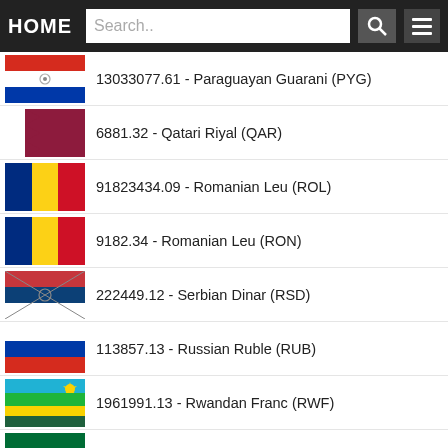HOME | Search.. | [search button] | [menu button]
13033077.61 - Paraguayan Guarani (PYG)
6881.32 - Qatari Riyal (QAR)
91823434.09 - Romanian Leu (ROL)
9182.34 - Romanian Leu (RON)
222449.12 - Serbian Dinar (RSD)
113857.13 - Russian Ruble (RUB)
1961991.13 - Rwandan Franc (RWF)
7089.27 - Saudi Arabian Riyal (SAR)
15394.42 - Solomon Islander Dollar (SBD)
25493.19 - Seychellois Rupee (SCR)
109061533.33 - Sudanese Dinar (SDD)
1090615.33 - Sudanese Pound (SDG)
20383.5 - Swedish Krona (SEK)